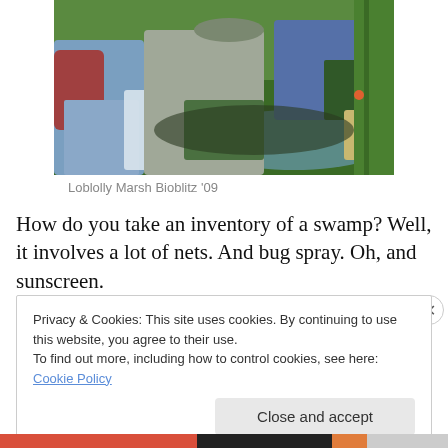[Figure (photo): People collecting samples with nets in a wetland/marsh area. A person in jeans and a t-shirt holds a collection bag, while an older man in a gray shirt and cap pours contents from a net. Green grass and water visible in the background.]
Loblolly Marsh Bioblitz '09
How do you take an inventory of a swamp? Well, it involves a lot of nets. And bug spray. Oh, and sunscreen.
Privacy & Cookies: This site uses cookies. By continuing to use this website, you agree to their use.
To find out more, including how to control cookies, see here: Cookie Policy
Close and accept